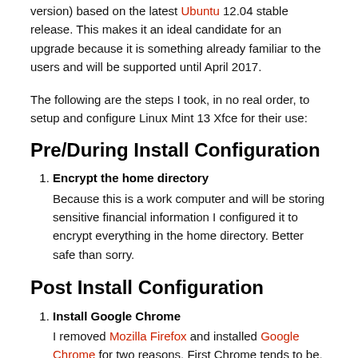version) based on the latest Ubuntu 12.04 stable release. This makes it an ideal candidate for an upgrade because it is something already familiar to the users and will be supported until April 2017.
The following are the steps I took, in no real order, to setup and configure Linux Mint 13 Xfce for their use:
Pre/During Install Configuration
Encrypt the home directory
Because this is a work computer and will be storing sensitive financial information I configured it to encrypt everything in the home directory. Better safe than sorry.
Post Install Configuration
Install Google Chrome
I removed Mozilla Firefox and installed Google Chrome for two reasons. First Chrome tends to be, or at least feel, a little bit snappier than even the latest version of Firefox